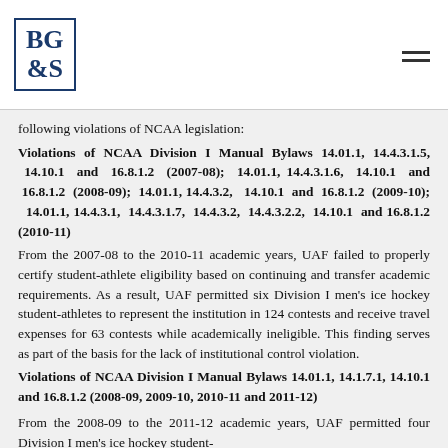BG&S logo and navigation
following violations of NCAA legislation:
Violations of NCAA Division I Manual Bylaws 14.01.1, 14.4.3.1.5, 14.10.1 and 16.8.1.2 (2007-08); 14.01.1, 14.4.3.1.6, 14.10.1 and 16.8.1.2 (2008-09); 14.01.1, 14.4.3.2, 14.10.1 and 16.8.1.2 (2009-10); 14.01.1, 14.4.3.1, 14.4.3.1.7, 14.4.3.2, 14.4.3.2.2, 14.10.1 and 16.8.1.2 (2010-11)
From the 2007-08 to the 2010-11 academic years, UAF failed to properly certify student-athlete eligibility based on continuing and transfer academic requirements. As a result, UAF permitted six Division I men’s ice hockey student-athletes to represent the institution in 124 contests and receive travel expenses for 63 contests while academically ineligible. This finding serves as part of the basis for the lack of institutional control violation.
Violations of NCAA Division I Manual Bylaws 14.01.1, 14.1.7.1, 14.10.1 and 16.8.1.2 (2008-09, 2009-10, 2010-11 and 2011-12)
From the 2008-09 to the 2011-12 academic years, UAF permitted four Division I men’s ice hockey student-athletes to represent the institution in...